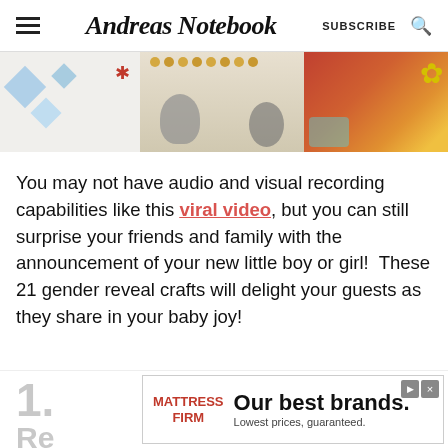Andreas Notebook | SUBSCRIBE
[Figure (photo): A horizontal strip of three lifestyle/craft photos: a white decorative panel with blue diamonds, a wooden bead garland with ornaments, and a colorful patterned pillow with yellow flowers.]
You may not have audio and visual recording capabilities like this viral video, but you can still surprise your friends and family with the announcement of your new little boy or girl!  These 21 gender reveal crafts will delight your guests as they share in your baby joy!
1. Re...
[Figure (other): Advertisement banner: Mattress Firm logo with text 'Our best brands. Lowest prices, guaranteed.']